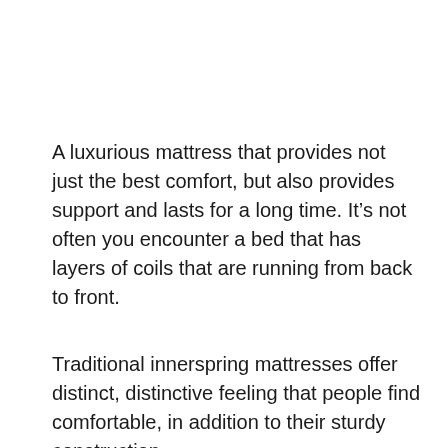A luxurious mattress that provides not just the best comfort, but also provides support and lasts for a long time. It’s not often you encounter a bed that has layers of coils that are running from back to front.
Traditional innerspring mattresses offer distinct, distinctive feeling that people find comfortable, in addition to their sturdy construction.
In comparison to the thinner memories foam